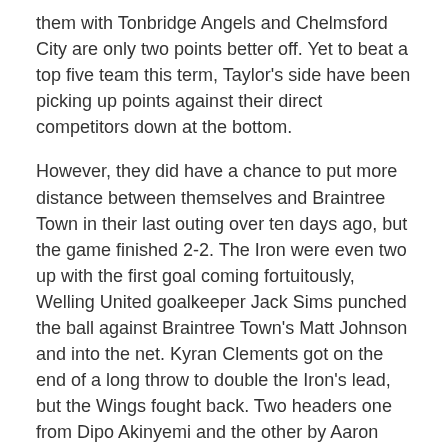them with Tonbridge Angels and Chelmsford City are only two points better off. Yet to beat a top five team this term, Taylor's side have been picking up points against their direct competitors down at the bottom.
However, they did have a chance to put more distance between themselves and Braintree Town in their last outing over ten days ago, but the game finished 2-2. The Iron were even two up with the first goal coming fortuitously, Welling United goalkeeper Jack Sims punched the ball against Braintree Town's Matt Johnson and into the net. Kyran Clements got on the end of a long throw to double the Iron's lead, but the Wings fought back. Two headers one from Dipo Akinyemi and the other by Aaron Barnes made sure the points were shared. Welling United also had an opportunity to pass Chelmsford City in the National South standings three weeks ago, this time the game ended scoreless.